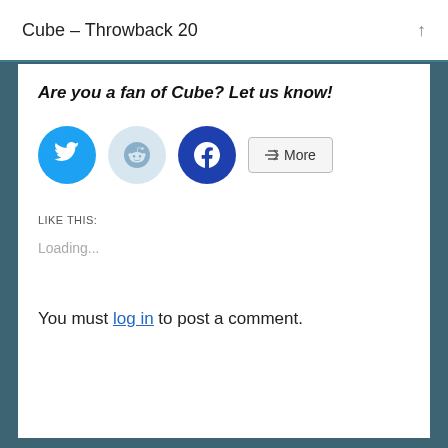Cube – Throwback 20
Are you a fan of Cube? Let us know!
[Figure (screenshot): Social share buttons: Twitter (blue circle), Reddit (light blue circle), Facebook (dark blue circle), and a More button]
LIKE THIS:
Loading...
You must log in to post a comment.